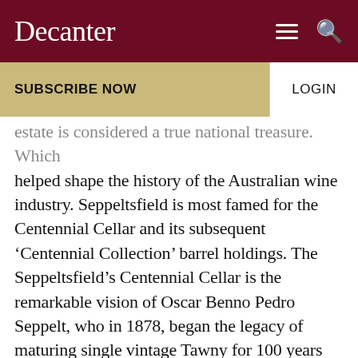Decanter
SUBSCRIBE NOW
LOGIN
estate is considered a true national treasure. Which helped shape the history of the Australian wine industry. Seppeltsfield is most famed for the Centennial Cellar and its subsequent ‘Centennial Collection’ barrel holdings. The Seppeltsfield’s Centennial Cellar is the remarkable vision of Oscar Benno Pedro Seppelt, who in 1878, began the legacy of maturing single vintage Tawny for 100 years before release.
Benno’s foresight has led Seppeltsfield to nurturing